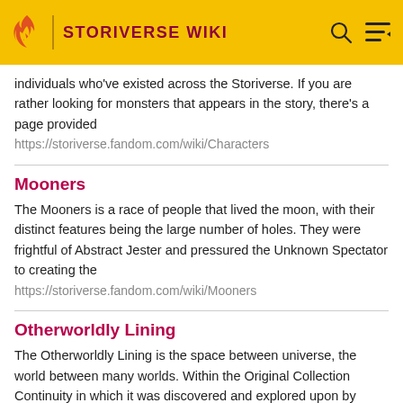STORIVERSE WIKI
individuals who've existed across the Storiverse. If you are rather looking for monsters that appears in the story, there's a page provided
https://storiverse.fandom.com/wiki/Characters
Mooners
The Mooners is a race of people that lived the moon, with their distinct features being the large number of holes. They were frightful of Abstract Jester and pressured the Unknown Spectator to creating the
https://storiverse.fandom.com/wiki/Mooners
Otherworldly Lining
The Otherworldly Lining is the space between universe, the world between many worlds. Within the Original Collection Continuity in which it was discovered and explored upon by Faerie Gris. This concept allowed the ability for